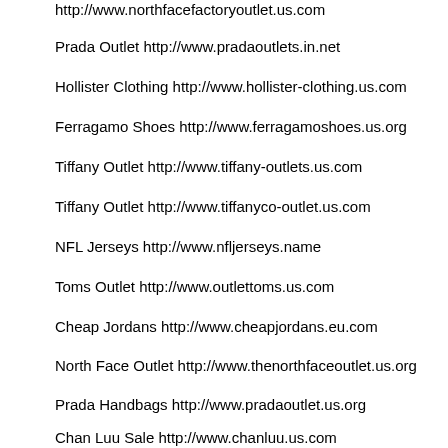http://www.northfacefactoryoutlet.us.com
Prada Outlet http://www.pradaoutlets.in.net
Hollister Clothing http://www.hollister-clothing.us.com
Ferragamo Shoes http://www.ferragamoshoes.us.org
Tiffany Outlet http://www.tiffany-outlets.us.com
Tiffany Outlet http://www.tiffanyco-outlet.us.com
NFL Jerseys http://www.nfljerseys.name
Toms Outlet http://www.outlettoms.us.com
Cheap Jordans http://www.cheapjordans.eu.com
North Face Outlet http://www.thenorthfaceoutlet.us.org
Prada Handbags http://www.pradaoutlet.us.org
Chan Luu Sale http://www.chanluu.us.com